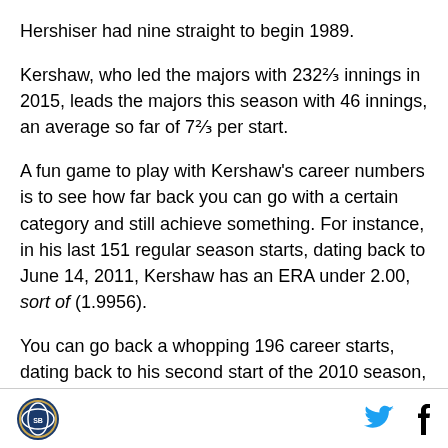Hershiser had nine straight to begin 1989.
Kershaw, who led the majors with 232⅔ innings in 2015, leads the majors this season with 46 innings, an average so far of 7⅔ per start.
A fun game to play with Kershaw's career numbers is to see how far back you can go with a certain category and still achieve something. For instance, in his last 151 regular season starts, dating back to June 14, 2011, Kershaw has an ERA under 2.00, sort of (1.9956).
You can go back a whopping 196 career starts, dating back to his second start of the 2010 season, and
[logo] [twitter] [facebook]